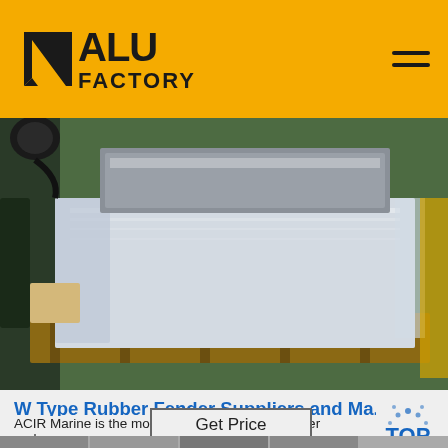ALU FACTORY
[Figure (photo): Aluminium or metal sheet product wrapped in plastic film/protective packaging, sitting on a wooden pallet in an industrial warehouse with green flooring]
W Type Rubber Fender Suppliers and Ma...
ACIR Marine is the most professional manufacturer and su...
Get Price
[Figure (other): TOP scroll-to-top button with dotted arc and blue text]
[Figure (photo): Thumbnail strip of product images at the bottom of the page]